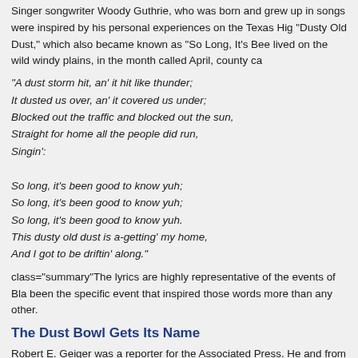Singer-songwriter Woody Guthrie, who was born and grew up in ... songs were inspired by his personal experiences on the Texas Hig... "Dusty Old Dust," which also became known as "So Long, It's Bee... lived on the wild windy plains, in the month called April, county ca...
"A dust storm hit, an' it hit like thunder;
It dusted us over, an' it covered us under;
Blocked out the traffic and blocked out the sun,
Straight for home all the people did run,
Singin':

So long, it's been good to know yuh;
So long, it's been good to know yuh;
So long, it's been good to know yuh.
This dusty old dust is a-getting' my home,
And I got to be driftin' along."
class="summary"The lyrics are highly representative of the events of Bla... been the specific event that inspired those words more than any other.
The Dust Bowl Gets Its Name
Robert E. Geiger was a reporter for the Associated Press. He and... from Boise City, Oklahoma, and were forced to wait two hours bef... Lubbock Evening Journal the next day, which began: "Residents o... Another article, also attributed to "an Associated Press reporter" a... life in the dust bowl of the continent – 'if it rains'." These cases ge... which the events of the 1930s have been known to history ever si...